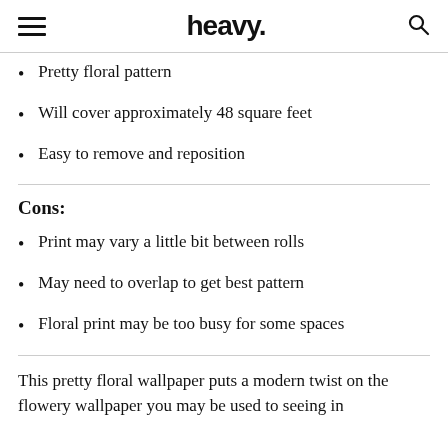heavy.
Pretty floral pattern
Will cover approximately 48 square feet
Easy to remove and reposition
Cons:
Print may vary a little bit between rolls
May need to overlap to get best pattern
Floral print may be too busy for some spaces
This pretty floral wallpaper puts a modern twist on the flowery wallpaper you may be used to seeing in